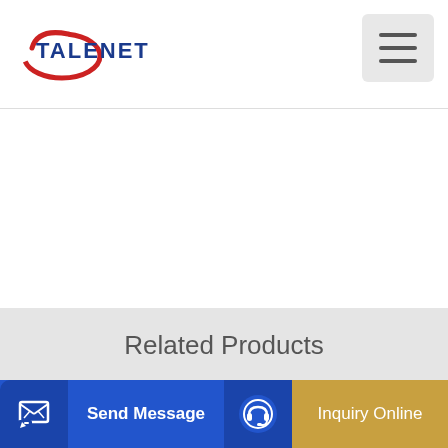[Figure (logo): Talenet logo with red arc swoosh and blue bold text TALENET]
[Figure (other): Hamburger menu icon (three horizontal lines) in a light gray rounded rectangle button]
Related Products
BEST Concrete Pumping Services in Mount Archer QLD 4701
Top 25 Concrete Pumps suppliers in Uganda
Send Message
Inquiry Online